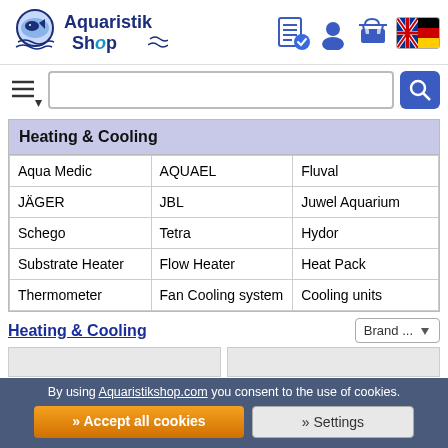[Figure (logo): Aquaristik Shop logo with fish icon and blue text]
[Figure (screenshot): Header icons: order list, user account, shopping cart, German/UK flag]
[Figure (screenshot): Search bar with hamburger menu icon and magnifier button]
| Heating & Cooling |  |  |
| --- | --- | --- |
| Aqua Medic | AQUAEL | Fluval |
| JÄGER | JBL | Juwel Aquarium |
| Schego | Tetra | Hydor |
| Substrate Heater | Flow Heater | Heat Pack |
| Thermometer | Fan Cooling system | Cooling units |
Heating & Cooling
Brand ...
By using Aquaristikshop.com you consent to the use of cookies.
» Accept all cookies
» Settings